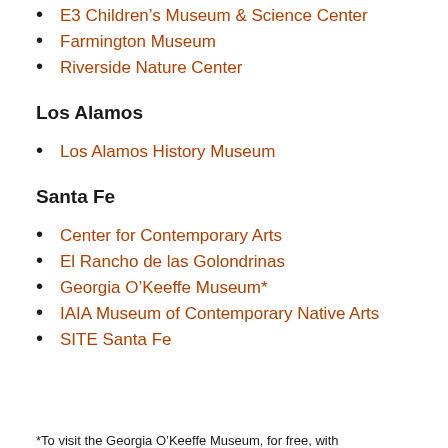E3 Children's Museum & Science Center
Farmington Museum
Riverside Nature Center
Los Alamos
Los Alamos History Museum
Santa Fe
Center for Contemporary Arts
El Rancho de las Golondrinas
Georgia O'Keeffe Museum*
IAIA Museum of Contemporary Native Arts
SITE Santa Fe
*To visit the Georgia O'Keeffe Museum, for free, with